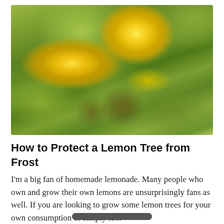[Figure (photo): Close-up photograph of yellow lemons hanging on a lemon tree branch with green leaves in the background, soft bokeh effect]
How to Protect a Lemon Tree from Frost
I'm a big fan of homemade lemonade. Many people who own and grow their own lemons are unsurprisingly fans as well. If you are looking to grow some lemon trees for your own consumption or simply to...